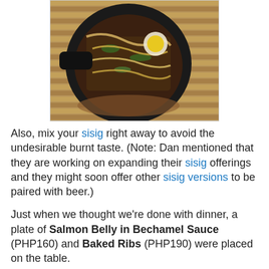[Figure (photo): Top-down photo of sisig dish in a cast iron skillet on a bamboo mat, with egg yolk, green peppers, and creamy sauce drizzled on top.]
Also, mix your sisig right away to avoid the undesirable burnt taste. (Note: Dan mentioned that they are working on expanding their sisig offerings and they might soon offer other sisig versions to be paired with beer.)
Just when we thought we're done with dinner, a plate of Salmon Belly in Bechamel Sauce (PHP160) and Baked Ribs (PHP190) were placed on the table.
[Figure (photo): Partial photo of a food dish on a wooden table, partially visible at bottom of page.]